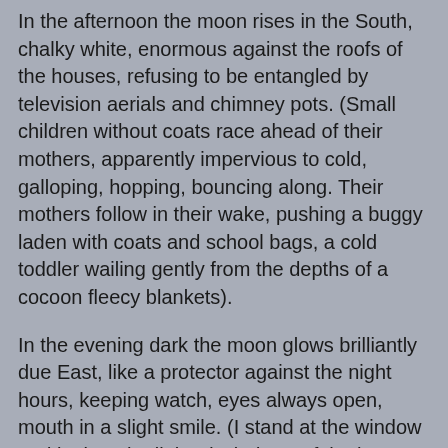In the afternoon the moon rises in the South, chalky white, enormous against the roofs of the houses, refusing to be entangled by television aerials and chimney pots. (Small children without coats race ahead of their mothers, apparently impervious to cold, galloping, hopping, bouncing along. Their mothers follow in their wake, pushing a buggy laden with coats and school bags, a cold toddler wailing gently from the depths of a cocoon fleecy blankets).
In the evening dark the moon glows brilliantly due East, like a protector against the night hours, keeping watch, eyes always open, mouth in a slight smile. (I stand at the window and look at the lighted windows of the houses all around; strips of gold patterning the dark like jewels. There's a conservatory in a garden several streets away, lit up like an exotic oriental pavilion, and I imagine people sitting in comfortable cushioned wicker chairs, sipping wine as they reflect on the day).
I used to teach this little lullaby to the youngest children;
"I see the moon, and the moon sees me,